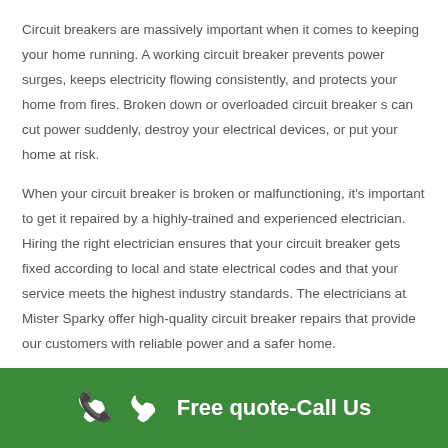Circuit breakers are massively important when it comes to keeping your home running. A working circuit breaker prevents power surges, keeps electricity flowing consistently, and protects your home from fires. Broken down or overloaded circuit breaker s can cut power suddenly, destroy your electrical devices, or put your home at risk.
When your circuit breaker is broken or malfunctioning, it's important to get it repaired by a highly-trained and experienced electrician. Hiring the right electrician ensures that your circuit breaker gets fixed according to local and state electrical codes and that your service meets the highest industry standards. The electricians at Mister Sparky offer high-quality circuit breaker repairs that provide our customers with reliable power and a safer home.
Free quote-Call Us